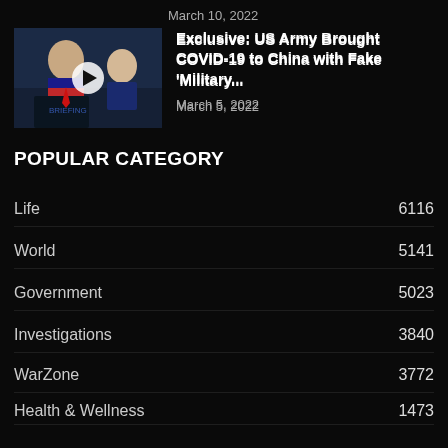March 10, 2022
[Figure (photo): Photo of two men at a press briefing podium with a play button overlay]
Exclusive: US Army Brought COVID-19 to China with Fake ‘Military...
March 5, 2022
POPULAR CATEGORY
Life    6116
World    5141
Government    5023
Investigations    3840
WarZone    3772
Health & Wellness    1473
Military    1345
History    1195